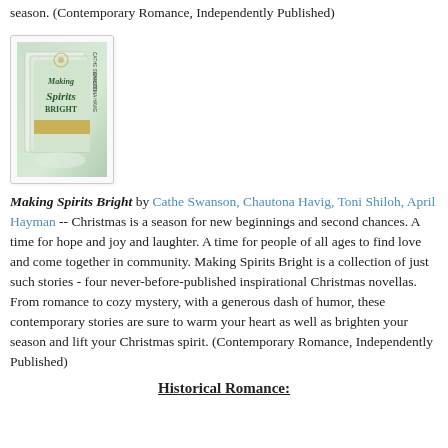season. (Contemporary Romance, Independently Published)
[Figure (photo): Book cover of 'Making Spirits Bright' — a boxed set with a soft green and gold holiday design, featuring stacked book spines with authors' names.]
Making Spirits Bright by Cathe Swanson, Chautona Havig, Toni Shiloh, April Hayman -- Christmas is a season for new beginnings and second chances. A time for hope and joy and laughter. A time for people of all ages to find love and come together in community. Making Spirits Bright is a collection of just such stories - four never-before-published inspirational Christmas novellas. From romance to cozy mystery, with a generous dash of humor, these contemporary stories are sure to warm your heart as well as brighten your season and lift your Christmas spirit. (Contemporary Romance, Independently Published)
Historical Romance: